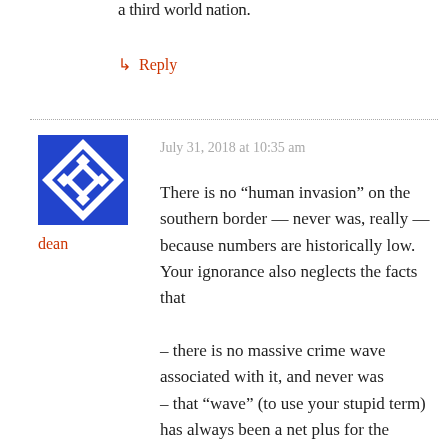a third world nation.
↳ Reply
July 31, 2018 at 10:35 am
[Figure (illustration): Blue and white geometric diamond pattern avatar icon]
dean
There is no “human invasion” on the southern border — never was, really — because numbers are historically low. Your ignorance also neglects the facts that

– there is no massive crime wave associated with it, and never was
– that “wave” (to use your stupid term) has always been a net plus for the economy